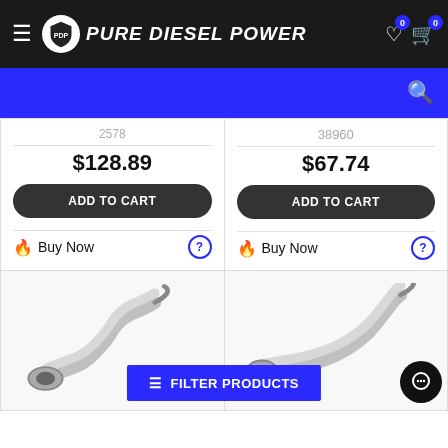Pure Diesel Power
38960
$128.89
ADD TO CART
Buy Now
$67.74
ADD TO CART
Buy Now
[Figure (photo): Exhaust pipe/flex pipe component, silver metallic, left product card]
[Figure (photo): Exhaust pipe/flex pipe component, silver metallic, right product card]
FILTER PRODUCTS